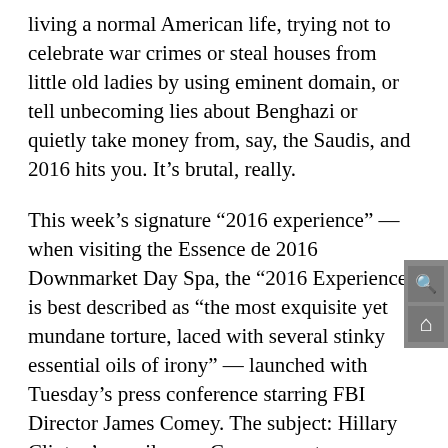living a normal American life, trying not to celebrate war crimes or steal houses from little old ladies by using eminent domain, or tell unbecoming lies about Benghazi or quietly take money from, say, the Saudis, and 2016 hits you. It's brutal, really.
This week's signature “2016 experience” — when visiting the Essence de 2016 Downmarket Day Spa, the “2016 Experience” is best described as “the most exquisite yet mundane torture, laced with several stinky essential oils of irony” — launched with Tuesday’s press conference starring FBI Director James Comey. The subject: Hillary Clinton’s email saga. Comey spent approximately 14 minutes describing in detail how Clinton was “extremely careless” with national security secrets and, from the sound of things, blatantly broke the law when it came to mishandling classified information.